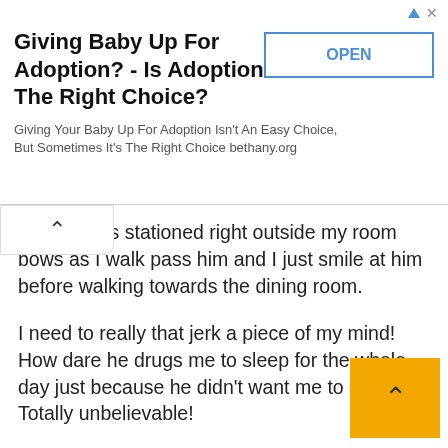[Figure (screenshot): Advertisement banner: 'Giving Baby Up For Adoption? - Is Adoption The Right Choice?' with OPEN button and subtitle 'Giving Your Baby Up For Adoption Isn't An Easy Choice, But Sometimes It's The Right Choice bethany.org']
guard that's stationed right outside my room bows as I walk pass him and I just smile at him before walking towards the dining room.
I need to really that jerk a piece of my mind! How dare he drugs me to sleep for the whole day just because he didn't want me to go out. Totally unbelievable!
His stupid perfectly styled hair comes into view as I storm into the dining room and he raises his head to look at him, a smirk dancing at the corner of his lips. Is he kidding me right now? How dare he even dares to smirk after what he had done? So he feels really accomplished, right?
Looking around the dining room, I can't find anything that could be enough punishment for what he did and I green